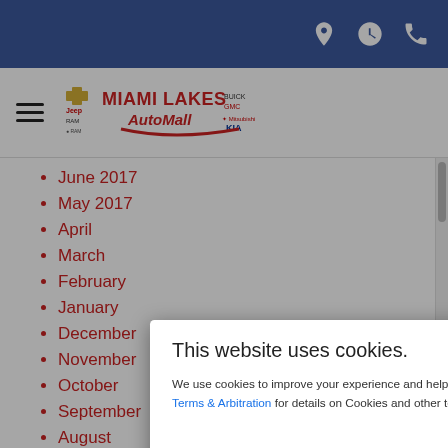Miami Lakes AutoMall website header with navigation icons (location, clock, phone)
[Figure (logo): Miami Lakes AutoMall logo with Chevrolet, Jeep, Ram, Buick, GMC, Mitsubishi, Kia brand icons]
June 2017
May 2017
April
March
February
January
December
November
October
September
August
This website uses cookies.

We use cookies to improve your experience and help our website to function. See Privacy Policy, Terms & Arbitration for details on Cookies and other terms required to use this site.

Accept Cookies & Policies
More Information

Privacy Policy